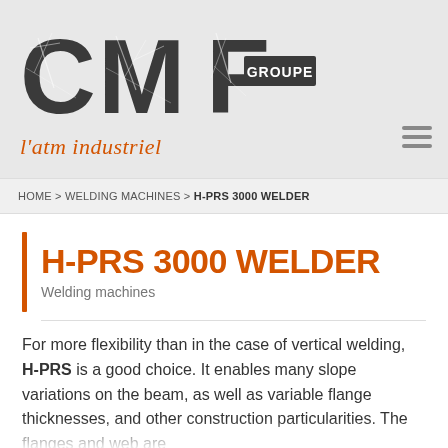[Figure (logo): CMF GROUPE logo with 'l'atm industriel' tagline in orange italic script. Large distressed/crackled CMF letters in dark gray with GROUPE in a badge, and an orange italic script tagline below.]
HOME > WELDING MACHINES > H-PRS 3000 WELDER
H-PRS 3000 WELDER
Welding machines
For more flexibility than in the case of vertical welding, H-PRS is a good choice. It enables many slope variations on the beam, as well as variable flange thicknesses, and other construction particularities. The flanges and web are